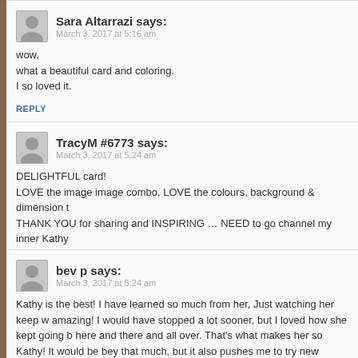Sara Altarrazi says:
March 3, 2017 at 5:16 am
wow,
what a beautiful card and coloring.
I so loved it.
REPLY
TracyM #6773 says:
March 3, 2017 at 5:24 am
DELIGHTFUL card!
LOVE the image image combo, LOVE the colours, background & dimension t
THANK YOU for sharing and INSPIRING ... NEED to go channel my inner Kathy
REPLY
bev p says:
March 3, 2017 at 5:24 am
Kathy is the best! I have learned so much from her, Just watching her keep w amazing! I would have stopped a lot sooner, but I loved how she kept going b here and there and all over. That's what makes her so Kathy! It would be bey that much, but it also pushes me to try new things!
REPLY